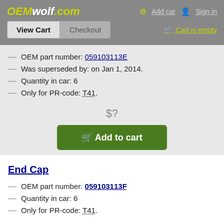OEMwolf.com — Add car | Sign in | View Cart | Checkout | Cart is empty
OEM part number: 059103113E
Was superseded by: on Jan 1, 2014.
Quantity in car: 6
Only for PR-code: T41.
$?
Add to cart
End Cap
OEM part number: 059103113F
Quantity in car: 6
Only for PR-code: T41.